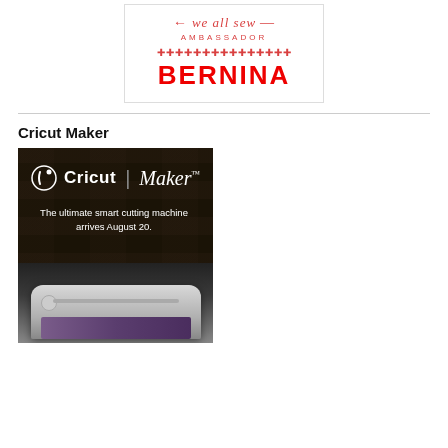[Figure (logo): We All Sew Ambassador badge with BERNINA logo — red script 'we all sew' with needle decoration, 'AMBASSADOR' text, decorative zigzag pattern, and bold red BERNINA wordmark]
Cricut Maker
[Figure (photo): Dark promotional image for Cricut Maker cutting machine. Shows 'Cricut | Maker™' logo in white text, tagline 'The ultimate smart cutting machine arrives August 20.' and the white Cricut Maker machine at bottom with purple fabric.]